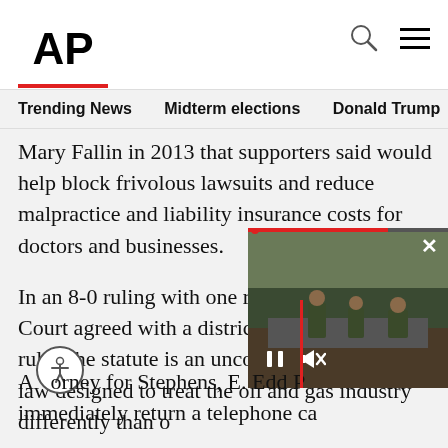AP
Trending News   Midterm elections   Donald Trump   Russia-Ukr
Mary Fallin in 2013 that supporters said would help block frivolous lawsuits and reduce malpractice and liability insurance costs for doctors and businesses.
In an 8-0 ruling with one recusal, the Supreme Court agreed with a district court judge who ruled the statute is an unconstitutional special law designed to treat the oil and gas industry differently than o
"...No valid reason exists for the sp oil and gas industry" under Oklaho compensation system, the high co
[Figure (screenshot): Video overlay showing soldiers, with play/pause and mute controls and a close (X) button]
A orney for Stephens, E. Edd P immediately return a telephone ca